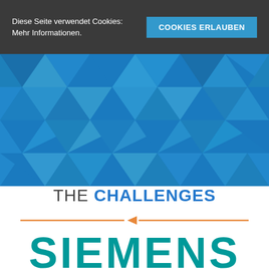Diese Seite verwendet Cookies:
Mehr Informationen.
COOKIES ERLAUBEN
[Figure (illustration): Blue geometric triangular pattern hero banner with varying shades of blue creating a low-poly diamond/triangle mosaic effect]
THE CHALLENGES
[Figure (infographic): Horizontal orange divider line with an orange right-pointing triangle/play-button arrow in the center]
SIEMENS